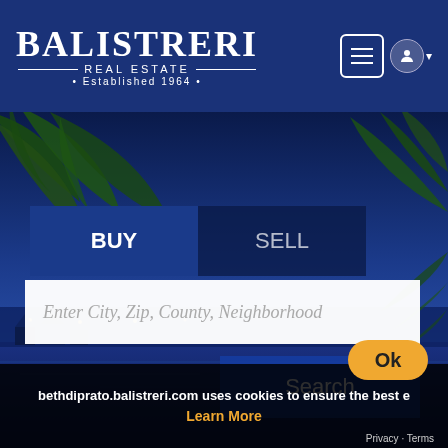[Figure (logo): Balistreri Real Estate logo — Established 1964]
[Figure (photo): Nighttime aerial photo of waterfront homes with palm trees and blue sky]
BUY
SELL
Enter City, Zip, County, Neighborhood
Search
bethdiprato.balistreri.com uses cookies to ensure the best e
Learn More
Ok
Privacy · Terms